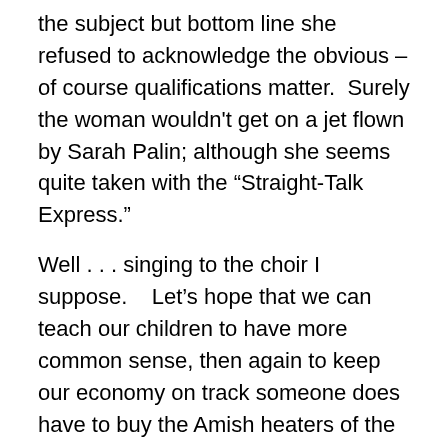the subject but bottom line she refused to acknowledge the obvious – of course qualifications matter.  Surely the woman wouldn't get on a jet flown by Sarah Palin; although she seems quite taken with the “Straight-Talk Express.”
Well . . . singing to the choir I suppose.    Let’s hope that we can teach our children to have more common sense, then again to keep our economy on track someone does have to buy the Amish heaters of the world.
CBS News Exclusive: Palin Talks About Biden, Age
COLUMBUS, Ohio (CBS) — CBS News anchor Katie